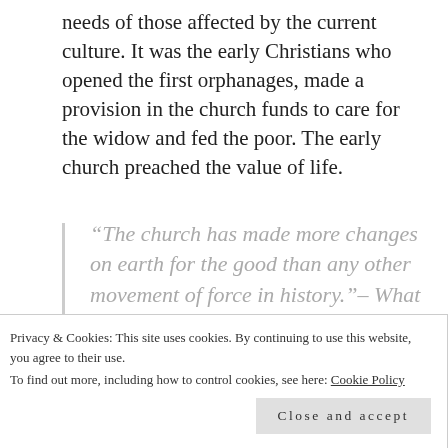needs of those affected by the current culture. It was the early Christians who opened the first orphanages, made a provision in the church funds to care for the widow and fed the poor. The early church preached the value of life.
“The church has made more changes on earth for the good than any other movement of force in history.”– What if Jesus had never Been Born
Let’s pray, humble ourselves and celebrate those tiny
Privacy & Cookies: This site uses cookies. By continuing to use this website, you agree to their use.
To find out more, including how to control cookies, see here: Cookie Policy
Close and accept